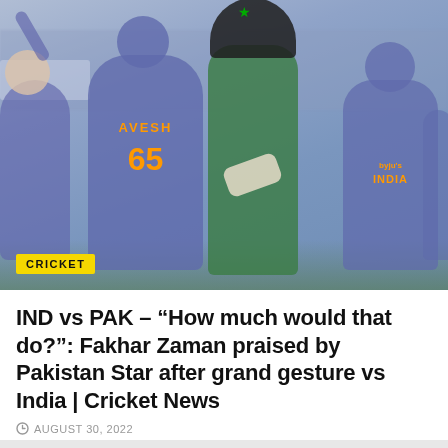[Figure (photo): Cricket match photo showing Indian players in purple jerseys celebrating with a Pakistani batter in green jersey. Player Avesh wearing jersey number 65 is prominent in the center. Players shaking hands or high-fiving on the cricket field.]
CRICKET
IND vs PAK – "How much would that do?": Fakhar Zaman praised by Pakistan Star after grand gesture vs India | Cricket News
AUGUST 30, 2022